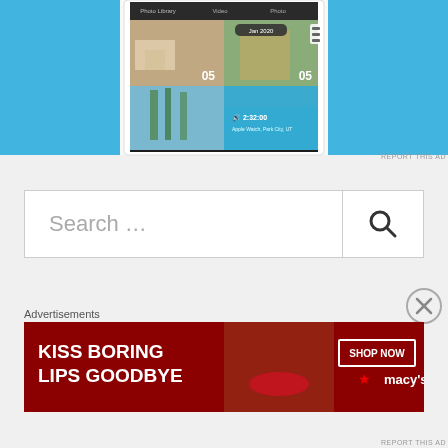[Figure (screenshot): Mobile app screenshot showing photo library interface with Jan 2020 label, grid of photos, and time display 2:32:00 Apple Watch, Park City, UT, on blue background]
REPORT THIS AD
Search ...
[Figure (other): Close/dismiss button circle with X]
Advertisements
[Figure (other): Macy's advertisement banner: KISS BORING LIPS GOODBYE with SHOP NOW button and Macy's star logo on dark red background]
REPORT THIS AD